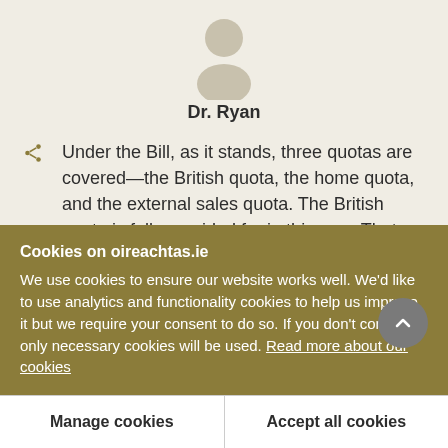[Figure (illustration): Circular avatar/person silhouette icon in muted beige/tan tones]
Dr. Ryan
Under the Bill, as it stands, three quotas are covered—the British quota, the home quota, and the external sales quota. The British quota is fully provided for in this way: That, when the board comes to make an allocation, they, first of all, allocate
Cookies on oireachtas.ie
We use cookies to ensure our website works well. We'd like to use analytics and functionality cookies to help us improve it but we require your consent to do so. If you don't consent, only necessary cookies will be used. Read more about our cookies
Manage cookies
Accept all cookies